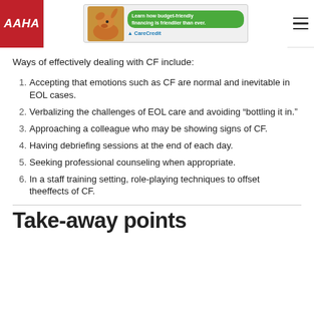AAHA | CareCredit ad banner
Ways of effectively dealing with CF include:
Accepting that emotions such as CF are normal and inevitable in EOL cases.
Verbalizing the challenges of EOL care and avoiding “bottling it in.”
Approaching a colleague who may be showing signs of CF.
Having debriefing sessions at the end of each day.
Seeking professional counseling when appropriate.
In a staff training setting, role-playing techniques to offset theeffects of CF.
Take-away points